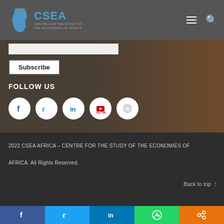CSEA - CENTRE FOR THE STUDY OF THE ECONOMIES OF AFRICA
[Figure (screenshot): Subscribe form with email input field and Subscribe button, overlaid on rocky landscape background]
FOLLOW US
[Figure (infographic): Five social media icons in white circles: Facebook, Twitter, LinkedIn, YouTube, Instagram]
2022 CSEA AFRICA – CENTRE FOR THE STUDY OF THE ECONOMIES OF AFRICA. All Rights Reserved.
Back to top
[Figure (infographic): Bottom social sharing bar with Facebook, Twitter, LinkedIn, WhatsApp, and Share icons]